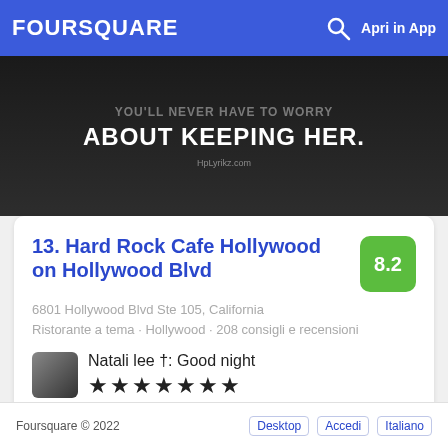FOURSQUARE  🔍  Apri in App
[Figure (photo): Dark background image with white bold text reading 'ABOUT KEEPING HER.' and smaller faded text above. Watermark: HpLyrikz.com]
13. Hard Rock Cafe Hollywood on Hollywood Blvd
6801 Hollywood Blvd Ste 105, California
Ristorante a tema · Hollywood · 208 consigli e recensioni
Natali lee †: Good night ★★★★★★★
Foursquare © 2022   Desktop  Accedi  Italiano